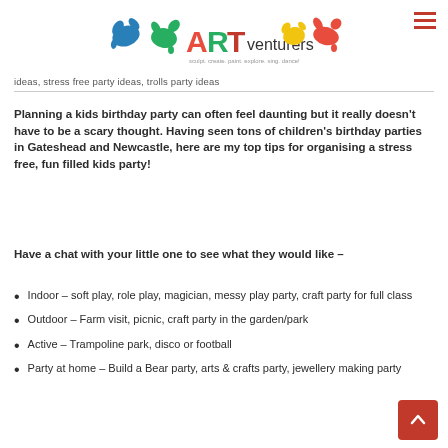ARTventurers logo with paint splat decorations
ideas, stress free party ideas, trolls party ideas
Planning a kids birthday party can often feel daunting but it really doesn't have to be a scary thought. Having seen tons of children's birthday parties in Gateshead and Newcastle, here are my top tips for organising a stress free, fun filled kids party!
Have a chat with your little one to see what they would like –
Indoor – soft play, role play, magician, messy play party, craft party for full class
Outdoor – Farm visit, picnic, craft party in the garden/park
Active – Trampoline park, disco or football
Party at home – Build a Bear party, arts & crafts party, jewellery making party